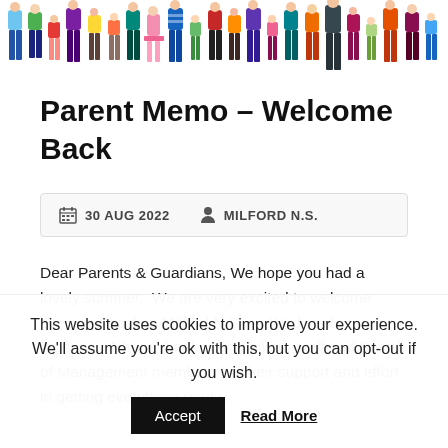[Figure (illustration): Colorful cartoon illustration of a row of people (adults and children) standing together, showing only from approximately the waist/knees down, with varied colorful clothing]
Parent Memo – Welcome Back
30 AUG 2022   MILFORD N.S.
Dear Parents & Guardians, We hope you had a lovely summer.  We are very excited to welcome everyone back to Milford N.S. on Wednesday morning.  A huge thank you to all our staff and Board of Management members for their support and effort in getting everything ready...
This website uses cookies to improve your experience. We'll assume you're ok with this, but you can opt-out if you wish.